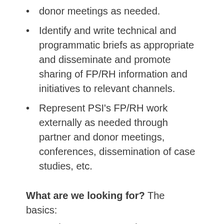donor meetings as needed.
Identify and write technical and programmatic briefs as appropriate and disseminate and promote sharing of FP/RH information and initiatives to relevant channels.
Represent PSI's FP/RH work externally as needed through partner and donor meetings, conferences, dissemination of case studies, etc.
What are we looking for? The basics:
You have a Master's degree or higher in relevant subject areas.
You have 10+ years of